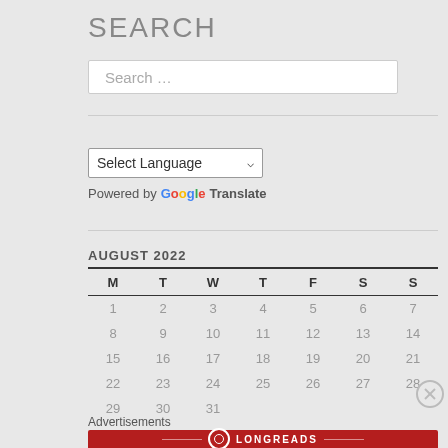SEARCH
Search …
Select Language
Powered by Google Translate
AUGUST 2022
| M | T | W | T | F | S | S |
| --- | --- | --- | --- | --- | --- | --- |
| 1 | 2 | 3 | 4 | 5 | 6 | 7 |
| 8 | 9 | 10 | 11 | 12 | 13 | 14 |
| 15 | 16 | 17 | 18 | 19 | 20 | 21 |
| 22 | 23 | 24 | 25 | 26 | 27 | 28 |
| 29 | 30 | 31 |  |  |  |  |
Advertisements
[Figure (other): Longreads advertisement banner: red background with Longreads logo and text 'The best stories on the web – ours, and everyone else's.']